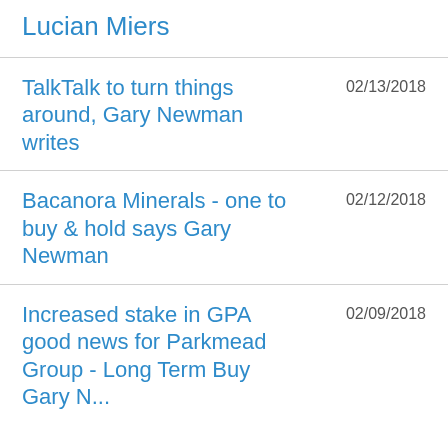Lucian Miers
TalkTalk to turn things around, Gary Newman writes
Bacanora Minerals - one to buy & hold says Gary Newman
Increased stake in GPA good news for Parkmead Group - Long Term Buy Gary Newman